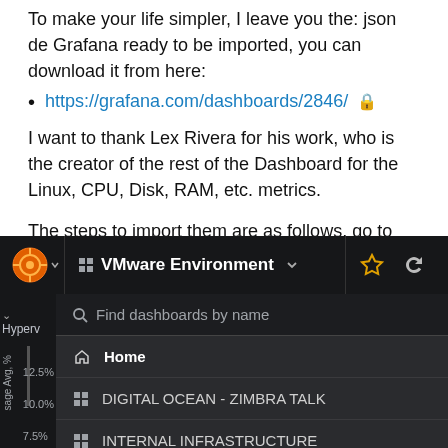To make your life simpler, I leave you the: json de Grafana ready to be imported, you can download it from here:
https://grafana.com/dashboards/2846/ 🔒
I want to thank Lex Rivera for his work, who is the creator of the rest of the Dashboard for the Linux, CPU, Disk, RAM, etc. metrics.
The steps to import them are as follows, go to our Dashboards, and press Import:
[Figure (screenshot): Grafana dashboard UI screenshot showing the VMware Environment dashboard with a dropdown menu listing: Find dashboards by name search box, Home, DIGITAL OCEAN - ZIMBRA TALK, INTERNAL INFRASTRUCTURE. Left panel shows Hyperv label and y-axis percentage labels (12.5%, 10.0%, 7.5%, 5.0%, 2.5%) with 'sage Avg, %' axis label.]